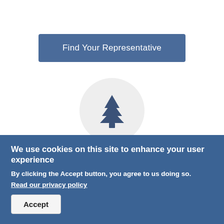[Figure (illustration): A blue button labeled 'Find Your Representative' on a white background]
[Figure (logo): A pine/evergreen tree icon inside a light gray circle, in dark blue color]
We use cookies on this site to enhance your user experience
By clicking the Accept button, you agree to us doing so.
Read our privacy policy
Accept